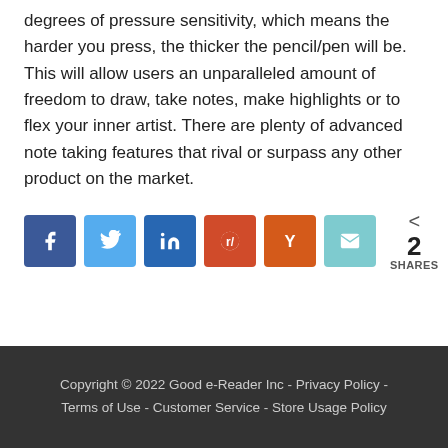degrees of pressure sensitivity, which means the harder you press, the thicker the pencil/pen will be. This will allow users an unparalleled amount of freedom to draw, take notes, make highlights or to flex your inner artist. There are plenty of advanced note taking features that rival or surpass any other product on the market.
[Figure (infographic): Social share buttons: Facebook, Twitter, LinkedIn, Reddit, Hacker News (Y), Email, and a share count showing 2 SHARES]
Copyright © 2022 Good e-Reader Inc - Privacy Policy - Terms of Use - Customer Service - Store Usage Policy